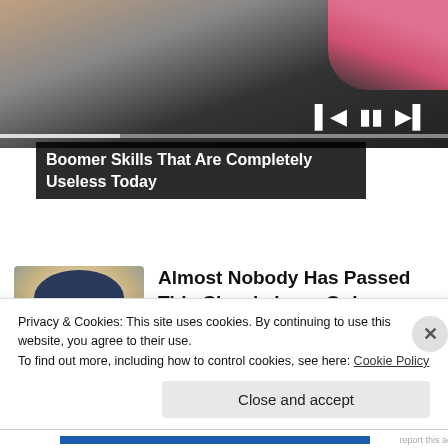[Figure (screenshot): Video thumbnail showing a person with a bag, with playback controls (previous, pause, next) visible at bottom right. A progress bar is shown at the bottom of the video player.]
Boomer Skills That Are Completely Useless Today
[Figure (photo): Quaker Oats man mascot illustration - man with white wig and dark colonial hat, smiling]
Almost Nobody Has Passed This Classic Logo Quiz
WarpedSpeed
Privacy & Cookies: This site uses cookies. By continuing to use this website, you agree to their use.
To find out more, including how to control cookies, see here: Cookie Policy
Close and accept